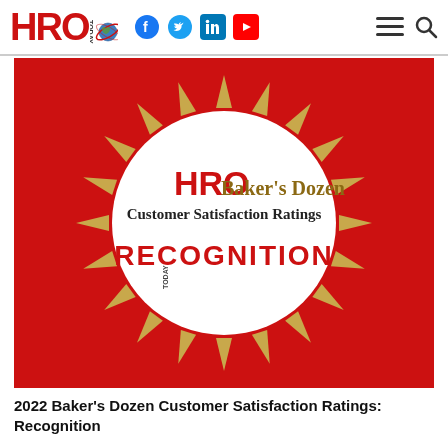HRO Today — navigation header with social icons
[Figure (logo): HRO Today Baker's Dozen Customer Satisfaction Ratings RECOGNITION award badge: red background with gold starburst/sunburst rays surrounding a large white circle. Inside the circle: 'HRO Today Baker's Dozen Customer Satisfaction Ratings' text and 'RECOGNITION' in bold red letters.]
2022 Baker's Dozen Customer Satisfaction Ratings: Recognition